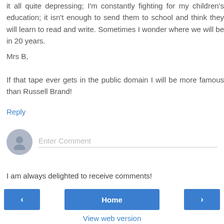it all quite depressing; I'm constantly fighting for my children's education; it isn't enough to send them to school and think they will learn to read and write. Sometimes I wonder where we will be in 20 years.
Mrs B,
If that tape ever gets in the public domain I will be more famous than Russell Brand!
Reply
[Figure (illustration): Comment input area with avatar icon and 'Enter Comment' placeholder text field]
I am always delighted to receive comments!
[Figure (infographic): Navigation bar with left arrow button, Home button, and right arrow button]
View web version